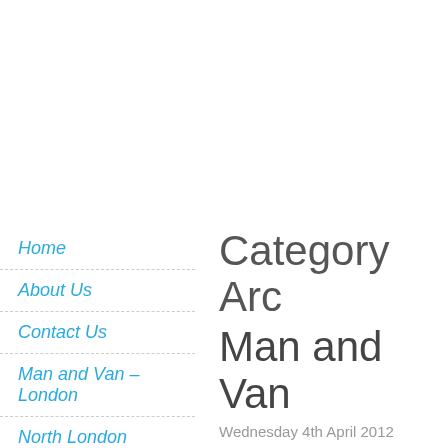Home
About Us
Contact Us
Man and Van – London
North London
North West London
Category Arc Man and Van
Wednesday 4th April 2012
Man and Van company at Heath. Call us on 0208 62 professional home & office